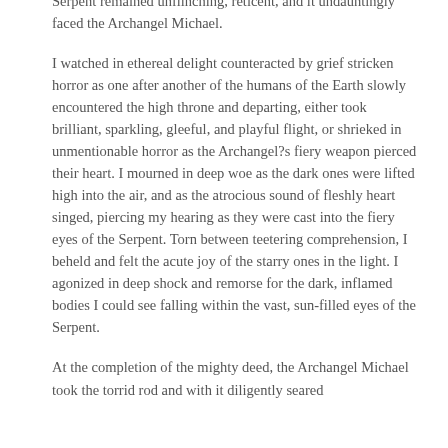Serpent remained unflinching, reticent, and it undauntingly faced the Archangel Michael.
I watched in ethereal delight counteracted by grief stricken horror as one after another of the humans of the Earth slowly encountered the high throne and departing, either took brilliant, sparkling, gleeful, and playful flight, or shrieked in unmentionable horror as the Archangel?s fiery weapon pierced their heart. I mourned in deep woe as the dark ones were lifted high into the air, and as the atrocious sound of fleshly heart singed, piercing my hearing as they were cast into the fiery eyes of the Serpent. Torn between teetering comprehension, I beheld and felt the acute joy of the starry ones in the light. I agonized in deep shock and remorse for the dark, inflamed bodies I could see falling within the vast, sun-filled eyes of the Serpent.
At the completion of the mighty deed, the Archangel Michael took the torrid rod and with it diligently seared